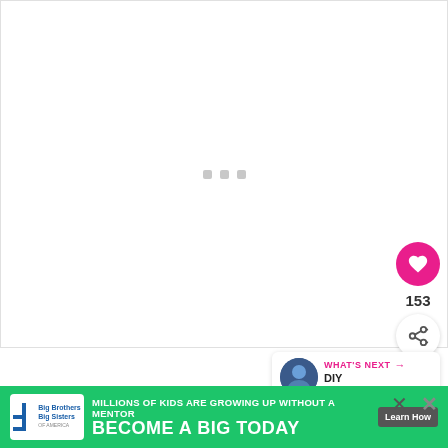[Figure (photo): Large image placeholder area with loading indicator (three small grey squares), white background. Social action buttons on the right: pink heart/like button, like count 153, and share button.]
[Figure (screenshot): What's Next panel showing a circular thumbnail image and text: WHAT'S NEXT → DIY Chrismukka...]
After the pieces were embellished with iron-on
di...
th...
[Figure (screenshot): Advertisement banner: Big Brothers Big Sisters of America. MILLIONS OF KIDS ARE GROWING UP WITHOUT A MENTOR. BECOME A BIG TODAY. Learn How button. Close buttons (X).]